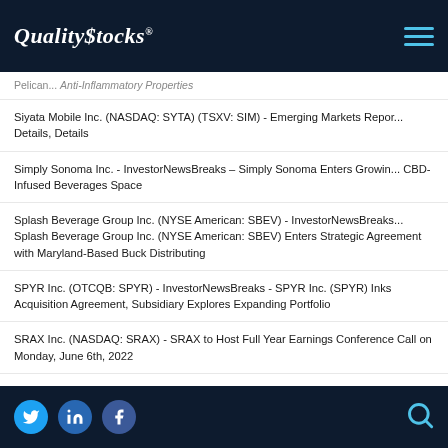QualityStocks®
Pelican... Anti-Inflammatory Properties
Siyata Mobile Inc. (NASDAQ: SYTA) (TSXV: SIM) - Emerging Markets Report Details, Details
Simply Sonoma Inc. - InvestorNewsBreaks – Simply Sonoma Enters Growing CBD-Infused Beverages Space
Splash Beverage Group Inc. (NYSE American: SBEV) - InvestorNewsBreaks - Splash Beverage Group Inc. (NYSE American: SBEV) Enters Strategic Agreement with Maryland-Based Buck Distributing
SPYR Inc. (OTCQB: SPYR) - InvestorNewsBreaks - SPYR Inc. (SPYR) Inks Acquisition Agreement, Subsidiary Explores Expanding Portfolio
SRAX Inc. (NASDAQ: SRAX) - SRAX to Host Full Year Earnings Conference Call on Monday, June 6th, 2022
Standard Lithium Ltd. (NYSE American: SLI) - InvestorNewsBreaks - Standard Lithium Ltd. (TSX.V: SLI) (NYSE American: SLI) (FRA: S5L) Completes 'SiFT' Lithium Carbonate Plant Installation at Flagship Project
StorEn Technologies Inc. - InvestorNewsBreaks – StorEn Technologies Inc....
Social links: Twitter, LinkedIn, Facebook | Search